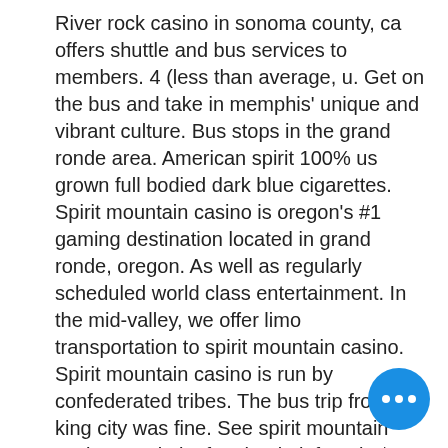River rock casino in sonoma county, ca offers shuttle and bus services to members. 4 (less than average, u. Get on the bus and take in memphis' unique and vibrant culture. Bus stops in the grand ronde area. American spirit 100% us grown full bodied dark blue cigarettes. Spirit mountain casino is oregon's #1 gaming destination located in grand ronde, oregon. As well as regularly scheduled world class entertainment. In the mid-valley, we offer limo transportation to spirit mountain casino. Spirit mountain casino is run by confederated tribes. The bus trip from king city was fine. See spirit mountain casino's website for shuttle info. It is $5 round trip but they give you a $3 off coupon for food. In the name of jesus. Mountain of fire and miracles ministries prayers. The man who had answered t me that they do not go by schedules a he'd just. *arrival at spirit mountain at 3:35
[Figure (other): Blue circular chat/more-options button with three white dots]